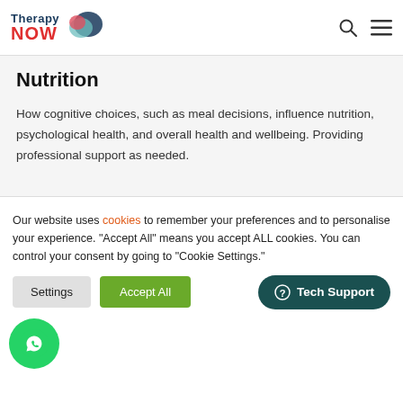Therapy NOW
Nutrition
How cognitive choices, such as meal decisions, influence nutrition, psychological health, and overall health and wellbeing. Providing professional support as needed.
[Figure (illustration): Partial circular gray icon resembling a food/wheel graphic at bottom of content area]
Our website uses cookies to remember your preferences and to personalise your experience. "Accept All" means you accept ALL cookies. You can control your consent by going to "Cookie Settings."